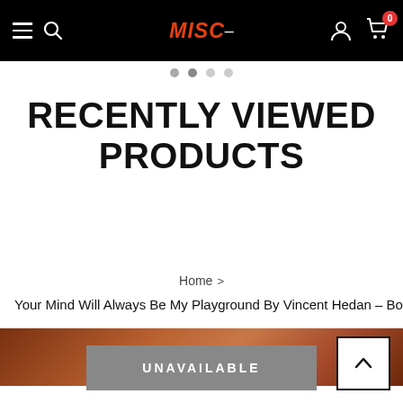Navigation bar with hamburger menu, search icon, MISC logo, user icon, and cart with badge 0
[Figure (screenshot): Carousel dots navigation row showing four dots]
RECENTLY VIEWED PRODUCTS
Home > Your Mind Will Always Be My Playground By Vincent Hedan - Book
[Figure (photo): Partial product image showing brown/reddish tones]
UNAVAILABLE